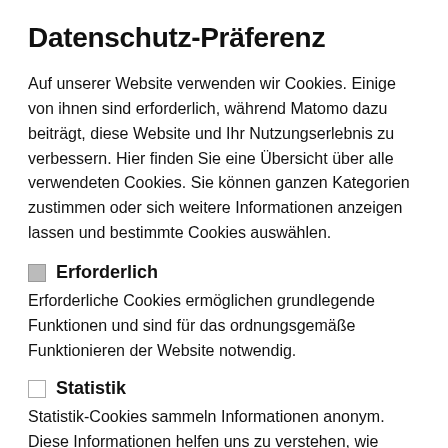Datenschutz-Präferenz
Auf unserer Website verwenden wir Cookies. Einige von ihnen sind erforderlich, während Matomo dazu beiträgt, diese Website und Ihr Nutzungserlebnis zu verbessern. Hier finden Sie eine Übersicht über alle verwendeten Cookies. Sie können ganzen Kategorien zustimmen oder sich weitere Informationen anzeigen lassen und bestimmte Cookies auswählen.
Erforderlich
Erforderliche Cookies ermöglichen grundlegende Funktionen und sind für das ordnungsgemäße Funktionieren der Website notwendig.
Statistik
Statistik-Cookies sammeln Informationen anonym. Diese Informationen helfen uns zu verstehen, wie unsere